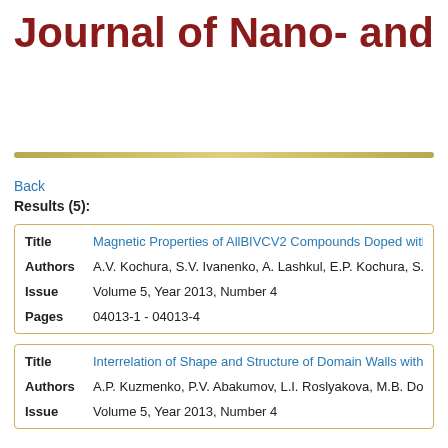Journal of Nano- and E
Back
Results (5):
| Field | Value |
| --- | --- |
| Title | Magnetic Properties of AllBIVCV2 Compounds Doped with M... |
| Authors | A.V. Kochura, S.V. Ivanenko, A. Lashkul, E.P. Kochura, S.F. M... |
| Issue | Volume 5, Year 2013, Number 4 |
| Pages | 04013-1 - 04013-4 |
| Field | Value |
| --- | --- |
| Title | Interrelation of Shape and Structure of Domain Walls with Ma... |
| Authors | A.P. Kuzmenko, P.V. Abakumov, L.I. Roslyakova, M.B. Dobrom... |
| Issue | Volume 5, Year 2013, Number 4 |